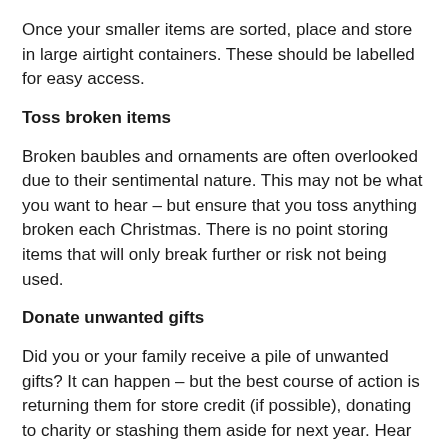Once your smaller items are sorted, place and store in large airtight containers. These should be labelled for easy access.
Toss broken items
Broken baubles and ornaments are often overlooked due to their sentimental nature. This may not be what you want to hear – but ensure that you toss anything broken each Christmas. There is no point storing items that will only break further or risk not being used.
Donate unwanted gifts
Did you or your family receive a pile of unwanted gifts? It can happen – but the best course of action is returning them for store credit (if possible), donating to charity or stashing them aside for next year. Hear us out of this one!
Regifting is gaining serious momentum and if you received an item that you know another friend or family member